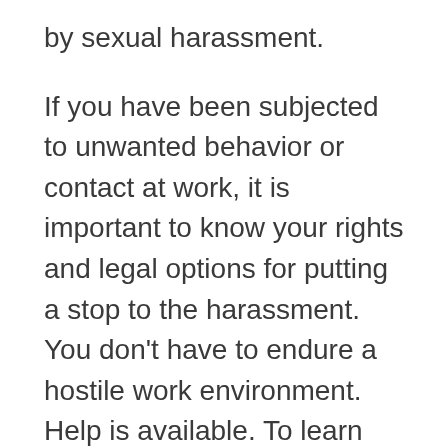by sexual harassment.
If you have been subjected to unwanted behavior or contact at work, it is important to know your rights and legal options for putting a stop to the harassment. You don't have to endure a hostile work environment. Help is available. To learn more, please see our overview of putting a stop to sexual harassment in Missouri workplaces.
Following are unfortunately common examples of unwanted behavior and contact at work:
Improper images at work